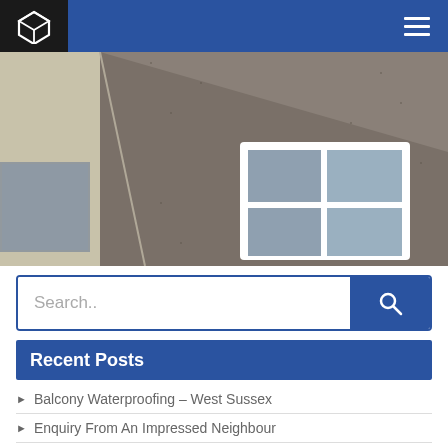Navigation bar with logo and hamburger menu
[Figure (photo): Exterior of a building showing rendered/pebble-dash facade in grey/brown with white window frames, two windows visible, triangular roofline section]
Search..
Recent Posts
Balcony Waterproofing – West Sussex
Enquiry From An Impressed Neighbour
Concrete Repair – Whipps Cross Hospital A&E